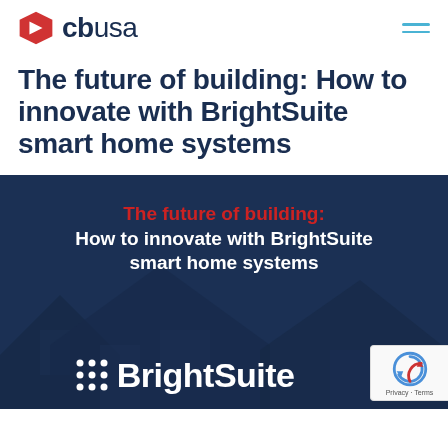cbusa (logo) — navigation header
The future of building: How to innovate with BrightSuite smart home systems
[Figure (illustration): Dark navy blue promotional image with a house silhouette in the background showing text: 'The future of building: How to innovate with BrightSuite smart home systems' in red and white bold text, and a BrightSuite logo with dot-grid icon at the bottom in white. A reCAPTCHA badge is overlaid at bottom right.]